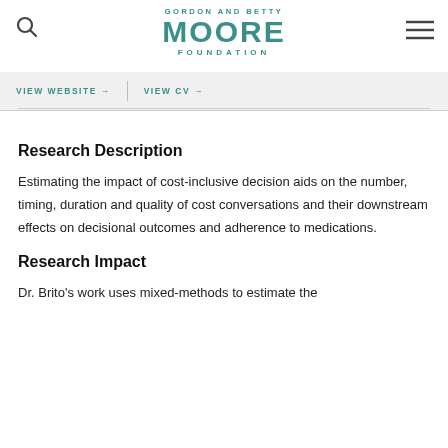[Figure (logo): Gordon and Betty Moore Foundation logo with search icon and hamburger menu icon]
VIEW WEBSITE →   VIEW CV →
Research Description
Estimating the impact of cost-inclusive decision aids on the number, timing, duration and quality of cost conversations and their downstream effects on decisional outcomes and adherence to medications.
Research Impact
Dr. Brito's work uses mixed-methods to estimate the